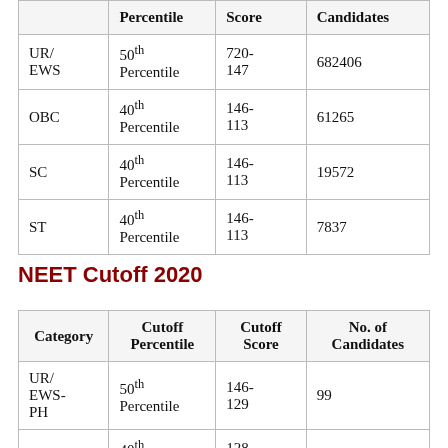|  | Percentile | Score | Candidates |
| --- | --- | --- | --- |
| UR/ EWS | 50th Percentile | 720-147 | 682406 |
| OBC | 40th Percentile | 146-113 | 61265 |
| SC | 40th Percentile | 146-113 | 19572 |
| ST | 40th Percentile | 146-113 | 7837 |
NEET Cutoff 2020
| Category | Cutoff Percentile | Cutoff Score | No. of Candidates |
| --- | --- | --- | --- |
| UR/ EWS-PH | 50th Percentile | 146-129 | 99 |
|  | 40th | 128- |  |